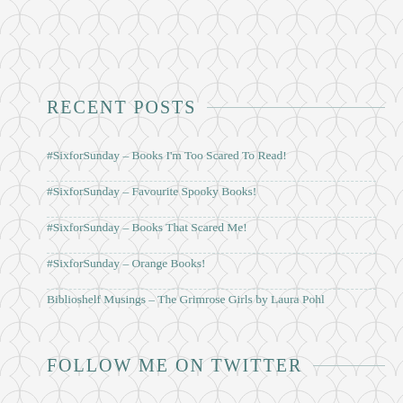RECENT POSTS
#SixforSunday – Books I'm Too Scared To Read!
#SixforSunday – Favourite Spooky Books!
#SixforSunday – Books That Scared Me!
#SixforSunday – Orange Books!
Biblioshelf Musings – The Grimrose Girls by Laura Pohl
FOLLOW ME ON TWITTER